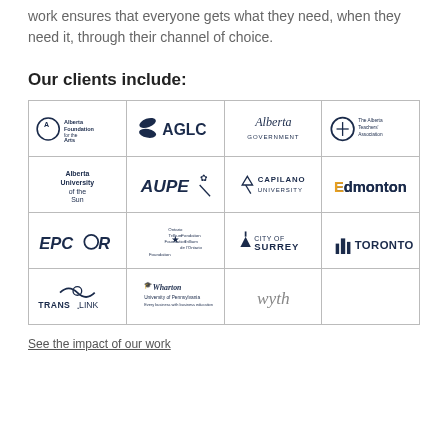work ensures that everyone gets what they need, when they need it, through their channel of choice.
Our clients include:
[Figure (logo): Grid of client logos: Alberta Foundation for the Arts, AGLC, Alberta Government, The Alberta Teachers' Association, Alberta University of the Sun, AUPE, Capilano University, Edmonton, EPCOR, Ontario Trillium Foundation, City of Surrey, Toronto, TransLink, Wharton University of Pennsylvania, wyth]
See the impact of our work